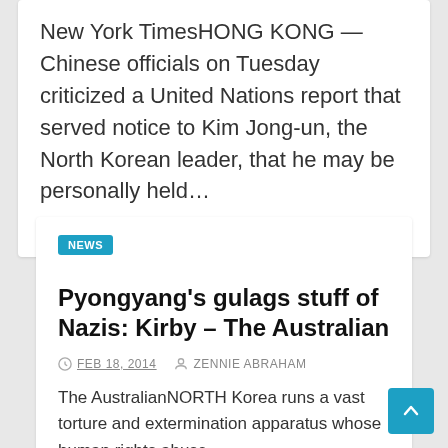New York TimesHONG KONG — Chinese officials on Tuesday criticized a United Nations report that served notice to Kim Jong-un, the North Korean leader, that he may be personally held…
NEWS
Pyongyang's gulags stuff of Nazis: Kirby – The Australian
FEB 18, 2014   ZENNIE ABRAHAM
The AustralianNORTH Korea runs a vast torture and extermination apparatus whose human rights abuse